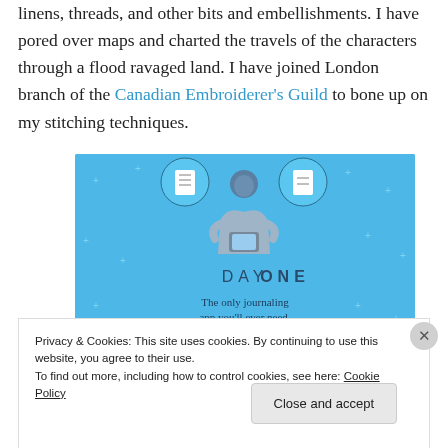linens, threads, and other bits and embellishments. I have pored over maps and charted the travels of the characters through a flood ravaged land. I have joined London branch of the Canadian Embroiderer's Guild to bone up on my stitching techniques.
[Figure (infographic): Day One journaling app advertisement on a blue background with a stylized illustration of a person holding a phone, surrounded by circular icons. Text reads 'DAY ONE – The only journaling app you'll ever need.']
Privacy & Cookies: This site uses cookies. By continuing to use this website, you agree to their use.
To find out more, including how to control cookies, see here: Cookie Policy